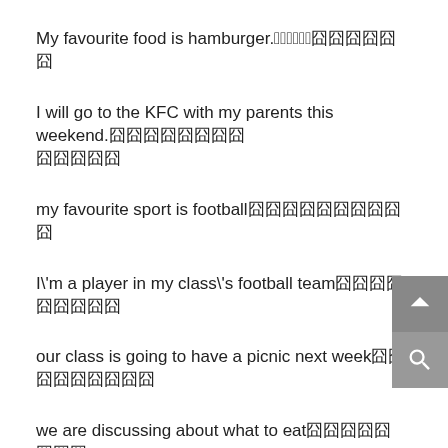My favourite food is hamburger.囧囧囧囧囧囧
I will go to the KFC with my parents this weekend.囧囧囧囧囧囧囧囧 囧囧囧囧囧
my favourite sport is football囧囧囧囧囧囧囧囧囧囧
I\'m a player in my class\'s football team囧囧囧囧囧囧囧囧囧
our class is going to have a picnic next week囧囧囧囧囧囧囧囧囧
we are discussing about what to eat囧囧囧囧囧囧囧囧
would you bring some hamburgers,Xiao Ming囧囧囧囧囧囧囧囧囧囧囧
shall we bring the football囧囧囧囧囧囧囧囧囧囧
Mary lost her pen囧囧囧囧囧囧